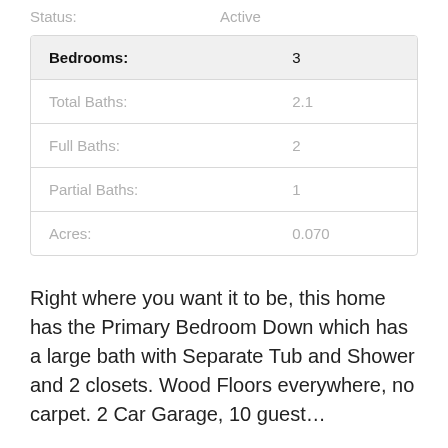| Field | Value |
| --- | --- |
| Bedrooms: | 3 |
| Total Baths: | 2.1 |
| Full Baths: | 2 |
| Partial Baths: | 1 |
| Acres: | 0.070 |
Right where you want it to be, this home has the Primary Bedroom Down which has a large bath with Separate Tub and Shower and 2 closets. Wood Floors everywhere, no carpet. 2 Car Garage, 10 guest…